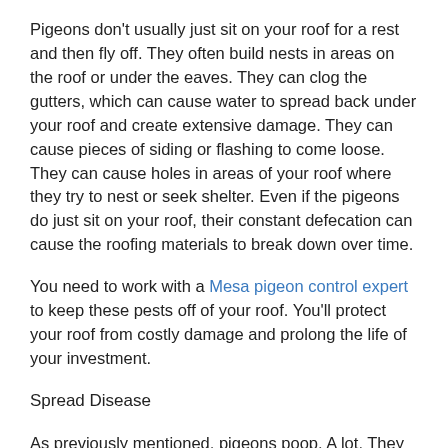Pigeons don't usually just sit on your roof for a rest and then fly off. They often build nests in areas on the roof or under the eaves. They can clog the gutters, which can cause water to spread back under your roof and create extensive damage. They can cause pieces of siding or flashing to come loose. They can cause holes in areas of your roof where they try to nest or seek shelter. Even if the pigeons do just sit on your roof, their constant defecation can cause the roofing materials to break down over time.
You need to work with a Mesa pigeon control expert to keep these pests off of your roof. You'll protect your roof from costly damage and prolong the life of your investment.
Spread Disease
As previously mentioned, pigeons poop. A lot. They create a real mess on your property if they decide to stick around and stay awhile. Not only is all that pigeon feces unsightly